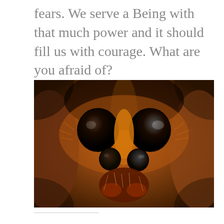fears. We serve a Being with that much power and it should fill us with courage. What are you afraid of?
[Figure (photo): Extreme close-up macro photograph of a spider's face showing large black eyes, orange and black coloring with fine hairs, and multiple eyes visible]